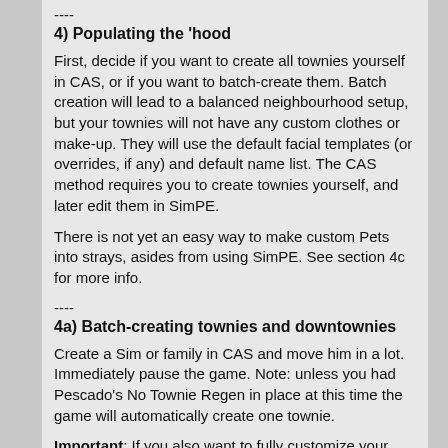----
4) Populating the 'hood
First, decide if you want to create all townies yourself in CAS, or if you want to batch-create them. Batch creation will lead to a balanced neighbourhood setup, but your townies will not have any custom clothes or make-up. They will use the default facial templates (or overrides, if any) and default name list. The CAS method requires you to create townies yourself, and later edit them in SimPE.
There is not yet an easy way to make custom Pets into strays, asides from using SimPE. See section 4c for more info.
----
4a) Batch-creating townies and downtownies
Create a Sim or family in CAS and move him in a lot. Immediately pause the game. Note: unless you had Pescado's No Townie Regen in place at this time the game will automatically create one townie.
Important: If you also want to fully customize your NPCs, buy the FFS Lot Sync Timer and use the Time Warp feature at this time to set the hour to 05:00 to